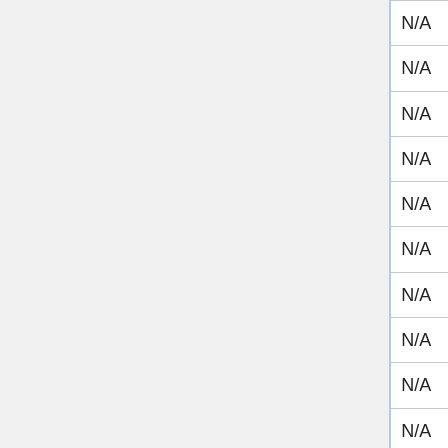| Game | Col2 | Col3 |
| --- | --- | --- |
| Cinderella French Mansion Escape | N/A | N/A |
| Circlo | N/A | N/A |
| City Jumper | N/A | N/A |
| City Siege | N/A | N/A |
| City Wizard | N/A | N/A |
| Civet's Odyssey | N/A | N/A |
| Civilizations Wars | N/A | N/A |
| Claris Autopsy | N/A | N/A |
| Clash 'n' Slash Worlds Away | N/A | N/A |
| Clay Pidgeon Hunter | N/A | N/A |
| Clear Vision | N/A | N/A |
| Clear Vision 2 | N/A | N/A |
| Clear Vision 5 | N/A | N/A |
| Clear Vision: Elite | N/A | N/A |